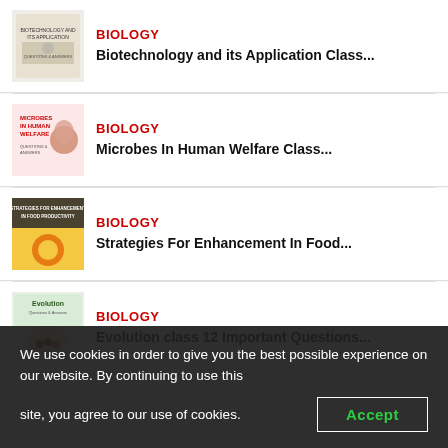BIOLOGY – Biotechnology and its Application Class...
BIOLOGY – Microbes In Human Welfare Class...
BIOLOGY – Strategies For Enhancement In Food...
BIOLOGY – Evolution class 12 Important Questions...
We use cookies in order to give you the best possible experience on our website. By continuing to use this site, you agree to our use of cookies.
Accept